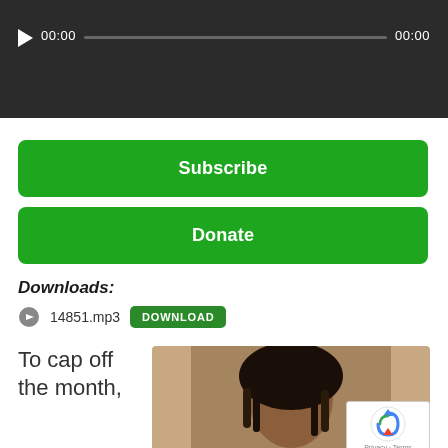[Figure (screenshot): Audio player bar with play button, time display showing 00:00 on left and 00:00 on right, with a progress bar in between, dark background]
Subscribe
Donate
Downloads:
14851.mp3  DOWNLOAD
To cap off the month,
[Figure (photo): Photo of a woman with braided hair, partial view]
Privacy · Terms